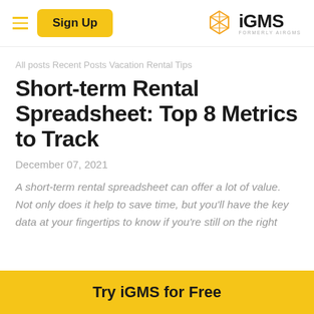Sign Up | iGMS FORMERLY AIRGMS
All posts Recent Posts Vacation Rental Tips
Short-term Rental Spreadsheet: Top 8 Metrics to Track
December 07, 2021
A short-term rental spreadsheet can offer a lot of value. Not only does it help to save time, but you'll have the key data at your fingertips to know if you're still on the right
Try iGMS for Free